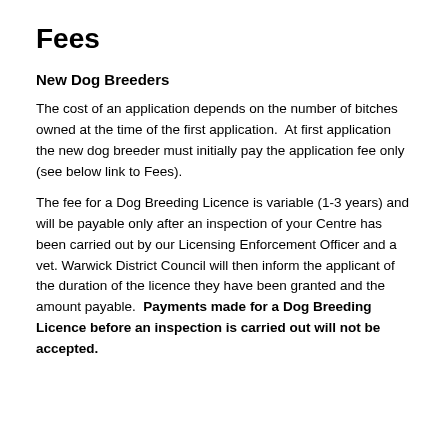Fees
New Dog Breeders
The cost of an application depends on the number of bitches owned at the time of the first application.  At first application the new dog breeder must initially pay the application fee only (see below link to Fees).
The fee for a Dog Breeding Licence is variable (1-3 years) and will be payable only after an inspection of your Centre has been carried out by our Licensing Enforcement Officer and a vet. Warwick District Council will then inform the applicant of the duration of the licence they have been granted and the amount payable.  Payments made for a Dog Breeding Licence before an inspection is carried out will not be accepted.